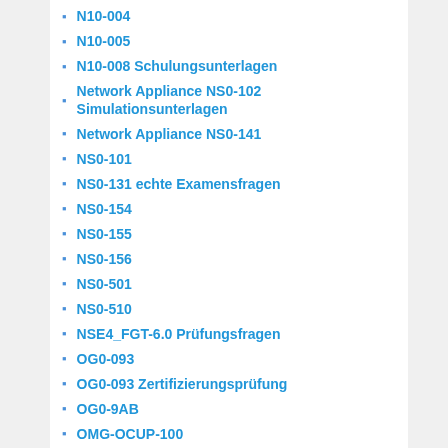N10-004
N10-005
N10-008 Schulungsunterlagen
Network Appliance NS0-102 Simulationsunterlagen
Network Appliance NS0-141
NS0-101
NS0-131 echte Examensfragen
NS0-154
NS0-155
NS0-156
NS0-501
NS0-510
NSE4_FGT-6.0 Prüfungsfragen
OG0-093
OG0-093 Zertifizierungsprüfung
OG0-9AB
OMG-OCUP-100
OMG-OCUP-200
OMG-OCUP-300
ORACLE 1Z0-851 Simulationsunterlagen
Original-Prüfungsfragen 070-341
originale Fragen 500-007 Deutsch